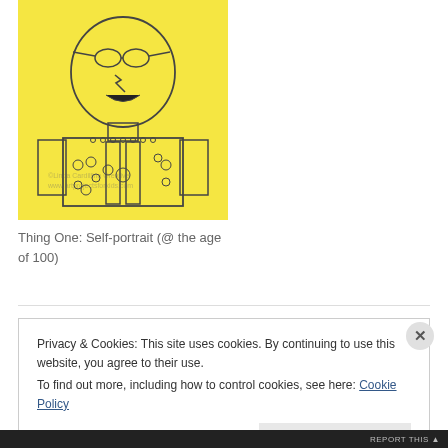[Figure (illustration): Child's pencil drawing of a person (self-portrait) on yellow paper. The figure has a round face with glasses, a lightning bolt on the cheek, and is wearing a decorated outfit. The drawing is outlined in pencil on bright yellow background. A faint watermark/copyright text appears in the lower portion of the image.]
Thing One: Self-portrait (@ the age of 100)
Privacy & Cookies: This site uses cookies. By continuing to use this website, you agree to their use.
To find out more, including how to control cookies, see here: Cookie Policy
REPORT THIS ▲